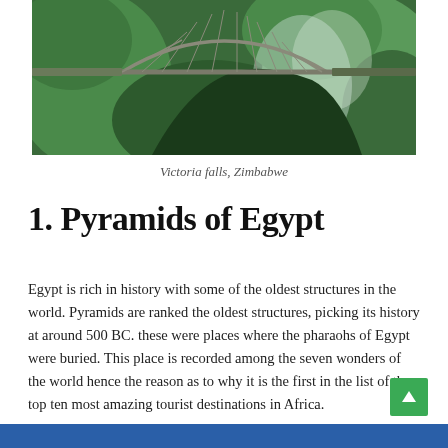[Figure (photo): Aerial view of a bridge over a gorge surrounded by lush green forest, Victoria Falls, Zimbabwe]
Victoria falls, Zimbabwe
1. Pyramids of Egypt
Egypt is rich in history with some of the oldest structures in the world. Pyramids are ranked the oldest structures, picking its history at around 500 BC. these were places where the pharaohs of Egypt were buried. This place is recorded among the seven wonders of the world hence the reason as to why it is the first in the list of the top ten most amazing tourist destinations in Africa.